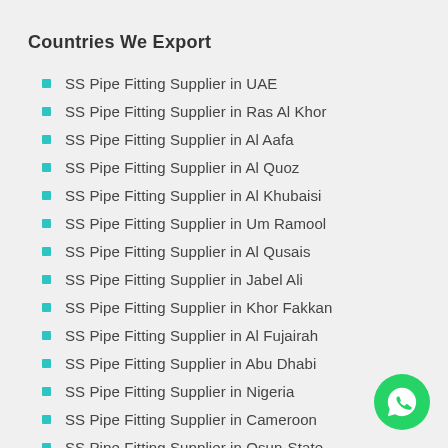Countries We Export
SS Pipe Fitting Supplier in UAE
SS Pipe Fitting Supplier in Ras Al Khor
SS Pipe Fitting Supplier in Al Aafa
SS Pipe Fitting Supplier in Al Quoz
SS Pipe Fitting Supplier in Al Khubaisi
SS Pipe Fitting Supplier in Um Ramool
SS Pipe Fitting Supplier in Al Qusais
SS Pipe Fitting Supplier in Jabel Ali
SS Pipe Fitting Supplier in Khor Fakkan
SS Pipe Fitting Supplier in Al Fujairah
SS Pipe Fitting Supplier in Abu Dhabi
SS Pipe Fitting Supplier in Nigeria
SS Pipe Fitting Supplier in Cameroon
SS Pipe Fitting Supplier in Osun-State
SS Pipe Fitting Supplier in Lesotho